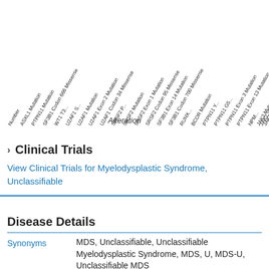[Figure (other): Rotated x-axis labels listing various gene mutations/alterations (ASXL1 Mutation, PTPN11 Mutation, SF3B1 Codon 666 Missense, WT1 T3..., U2AF1 S..., U2AF1 Mutation, U2AF1 Exon 2 Mutation, U2AF1 Codon 34 Missense, SRSF2 P..., SRSF2 Mutation, SRSF2 Exon 1 Mutation, SRSF2 Codon 95 Missense, SF3B1 Exon 14 Mutation, SF3B1 Codon 700 Missense, RUNX..., BCOR Mutation, PTPN11 Y..., PTPN11 G5..., PTPN11 Exon 3 Mutation, PTPN11 Exon 13 Mutation, NPM..., JAK2 V6..., JAK2 Mutation, JAK2 Exon 14 Mutation, DNMT3A S7..., DNMT3A Mutation, BCOR S2..., BCOR Nonsense, W...) forming the x-axis of a chart. The word 'Alteration' appears as the x-axis label.]
Alteration
Clinical Trials
View Clinical Trials for Myelodysplastic Syndrome, Unclassifiable
Disease Details
|  |  |
| --- | --- |
| Synonyms | MDS, Unclassifiable, Unclassifiable Myelodysplastic Syndrome, MDS, U, MDS-U, Unclassifiable MDS |
| Parent(s) | Myelodysplastic Syndromes |